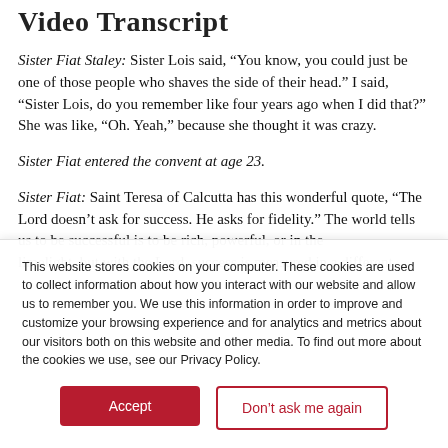Video Transcript
Sister Fiat Staley: Sister Lois said, “You know, you could just be one of those people who shaves the side of their head.” I said, “Sister Lois, do you remember like four years ago when I did that?” She was like, “Oh. Yeah,” because she thought it was crazy.
Sister Fiat entered the convent at age 23.
Sister Fiat: Saint Teresa of Calcutta has this wonderful quote, “The Lord doesn’t ask for success. He asks for fidelity.” The world tells us to be successful is to be rich, powerful, or in the limelight, but with the Lord, success is measured in a different
This website stores cookies on your computer. These cookies are used to collect information about how you interact with our website and allow us to remember you. We use this information in order to improve and customize your browsing experience and for analytics and metrics about our visitors both on this website and other media. To find out more about the cookies we use, see our Privacy Policy.
Accept
Don’t ask me again